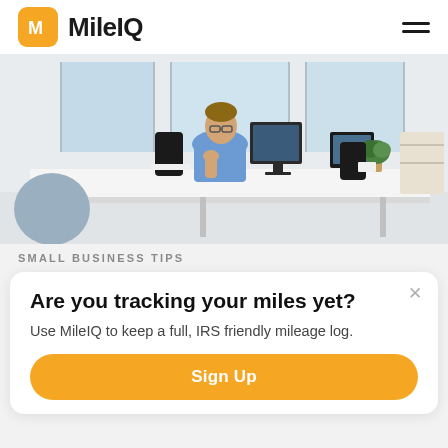MileIQ
[Figure (photo): Man in blue shirt sitting at a desk in a bright open office, looking thoughtfully at computer monitors. Office chairs, desks, and plants visible in background.]
SMALL BUSINESS TIPS
Are you tracking your miles yet?
Use MileIQ to keep a full, IRS friendly mileage log.
Sign Up